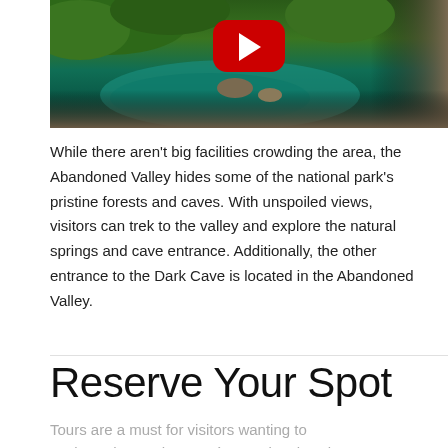[Figure (photo): Aerial or cave-entrance view of lush green tropical forest and blue-green water pool with rocky formations, with a YouTube play button overlay in the upper center.]
While there aren't big facilities crowding the area, the Abandoned Valley hides some of the national park's pristine forests and caves. With unspoiled views, visitors can trek to the valley and explore the natural springs and cave entrance. Additionally, the other entrance to the Dark Cave is located in the Abandoned Valley.
Reserve Your Spot
Tours are a must for visitors wanting to explore Phong Nha-Ke Bang National Park...